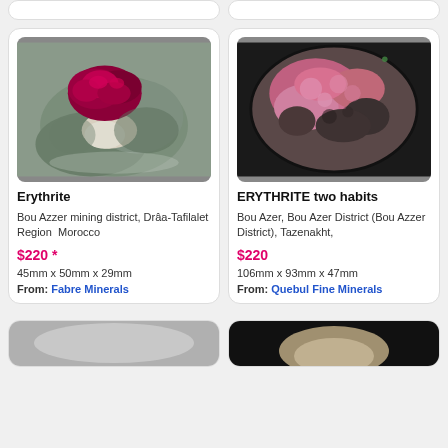[Figure (photo): Erythrite mineral specimen with deep red/crimson crystals on gray-green matrix rock]
Erythrite
Bou Azzer mining district, Drâa-Tafilalet Region  Morocco
$220 *
45mm x 50mm x 29mm
From: Fabre Minerals
[Figure (photo): ERYTHRITE two habits - pink mineral specimen with mottled pink and dark matrix]
ERYTHRITE two habits
Bou Azer, Bou Azer District (Bou Azzer District), Tazenakht,
$220
106mm x 93mm x 47mm
From: Quebul Fine Minerals